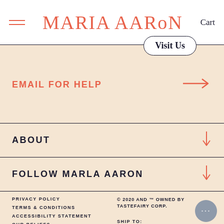MARIA AARON   Cart
Visit Us
EMAIL FOR HELP
ABOUT
FOLLOW MARLA AARON
PRIVACY POLICY
TERMS & CONDITIONS
ACCESSIBILITY STATEMENT
OUR BELIEFS
© 2020 AND ™ OWNED BY TASTEFAIRY CORP.
SHIP TO: